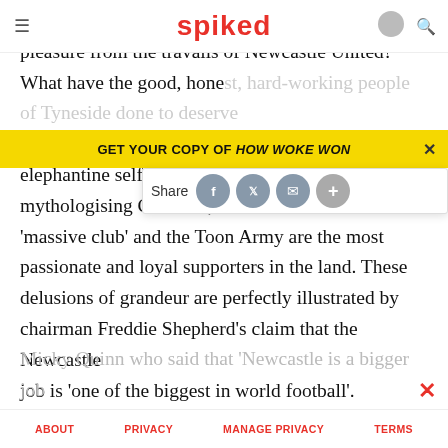spiked
But why, you might ask, do I derive so much pleasure from the travails of Newcastle United? What have the good, honest, hard-working people of Tyneside done to deserve this? Well, in short, it's their preposterous and elephantine self-aggrandisement. According to self-mythologising Geordies, Newcastle United are a 'massive club' and the Toon Army are the most passionate and loyal supporters in the land. These delusions of grandeur are perfectly illustrated by chairman Freddie Shepherd's claim that the Newcastle job is 'one of the biggest in world football'. Shepherd's sentiments were echoed by former Magpies' striker
Micky Quinn who said that 'Newcastle is a bigger job
ABOUT   PRIVACY   MANAGE PRIVACY   TERMS